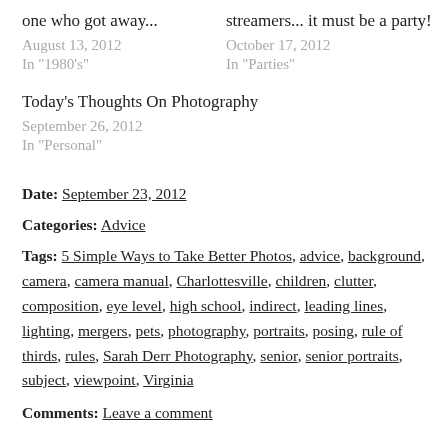one who got away...
August 13, 2012
In "1980's"
streamers... it must be a party!
October 17, 2012
In "Parties"
Today's Thoughts On Photography
September 26, 2012
In "Personal"
Date: September 23, 2012
Categories: Advice
Tags: 5 Simple Ways to Take Better Photos, advice, background, camera, camera manual, Charlottesville, children, clutter, composition, eye level, high school, indirect, leading lines, lighting, mergers, pets, photography, portraits, posing, rule of thirds, rules, Sarah Derr Photography, senior, senior portraits, subject, viewpoint, Virginia
Comments: Leave a comment